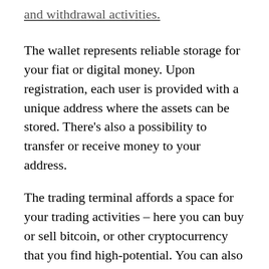and withdrawal activities.
The wallet represents reliable storage for your fiat or digital money. Upon registration, each user is provided with a unique address where the assets can be stored. There's also a possibility to transfer or receive money to your address.
The trading terminal affords a space for your trading activities – here you can buy or sell bitcoin, or other cryptocurrency that you find high-potential. You can also enjoy the benefits of spot trading, and place market or limit orders.
Exchange module delivers functionality that enables fast and easy online bitcoin exchange of fiat or digital money. Favorable rates and fast transaction processing is one of the major advantages of Binaryx over the similar platforms. The platform also charges the lowest fees for a transaction, which varies depending on the